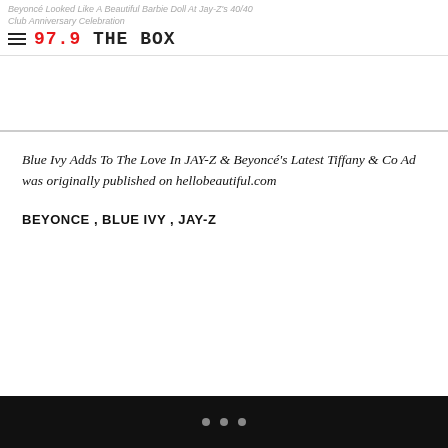Beyoncé Looked Like A Beautiful Barbie Doll At Jay-Z's 40/40 Club Anniversary Celebration
97.9 THE BOX
Blue Ivy Adds To The Love In JAY-Z & Beyoncé's Latest Tiffany & Co Ad was originally published on hellobeautiful.com
BEYONCE , BLUE IVY , JAY-Z